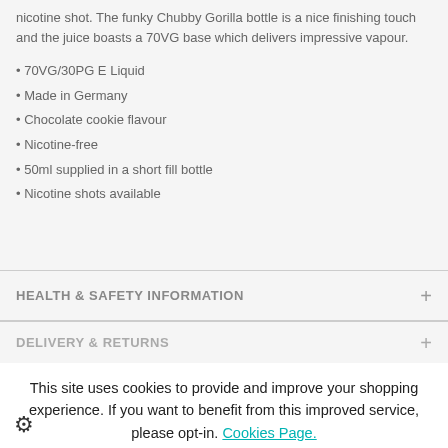nicotine shot. The funky Chubby Gorilla bottle is a nice finishing touch and the juice boasts a 70VG base which delivers impressive vapour.
70VG/30PG E Liquid
Made in Germany
Chocolate cookie flavour
Nicotine-free
50ml supplied in a short fill bottle
Nicotine shots available
HEALTH & SAFETY INFORMATION
DELIVERY & RETURNS
This site uses cookies to provide and improve your shopping experience. If you want to benefit from this improved service, please opt-in. Cookies Page.